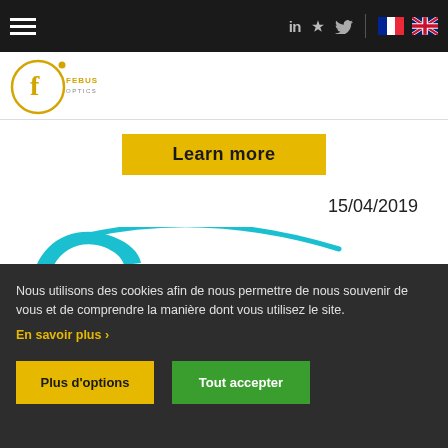Navigation bar with hamburger menu, LinkedIn, Twitter icons, French flag, UK flag
[Figure (logo): Febus Optics logo - circular gold 'f' icon with FEBUS OPTICS text]
Learn more
15/04/2019
[Figure (logo): CALICYA logo - Cable Life Cycle Assurance, with teal C swoosh and dark blue text]
Nous utilisons des cookies afin de nous permettre de nous souvenir de vous et de comprendre la manière dont vous utilisez le site. En savoir plus ›
Plus d'options
Tout accepter